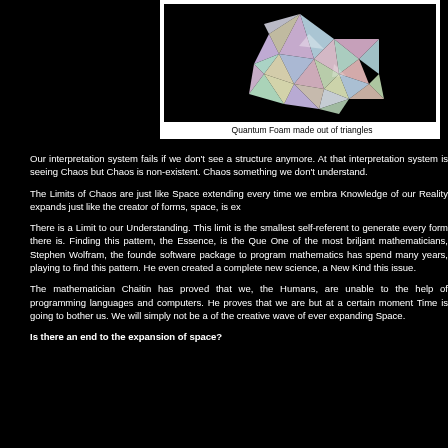[Figure (illustration): Colorful iridescent low-poly geometric shape (quantum foam) made of triangles against a black background]
Quantum Foam made out of triangles
Our interpretation system fails if we don't see a structure anymore. At that interpretation system is seeing Chaos but Chaos is non-existent. Chaos something we don't understand.
The Limits of Chaos are just like Space extending every time we embra Knowledge of our Reality expands just like the creator of forms, space, is ex
There is a Limit to our Understanding. This limit is the smallest self-referent to generate every form there is. Finding this pattern, the Essence, is the Que One of the most briljant mathematicians, Stephen Wolfram, the founde software package to program mathematics has spend many years, playing to find this pattern. He even created a complete new science, a New Kind this issue.
The mathematician Chaitin has proved that we, the Humans, are unable to the help of programming languages and computers. He proves that we are but at a certain moment Time is going to bother us. We will simply not be a of the creative wave of ever expanding Space.
Is there an end to the expansion of space?